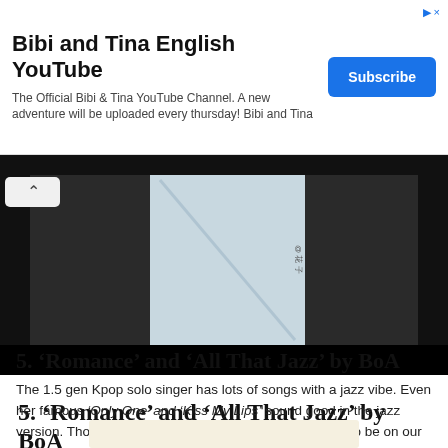[Figure (other): Advertisement banner for Bibi and Tina English YouTube channel with Subscribe button]
[Figure (screenshot): Video player thumbnail showing a dark/grey background with a light colored object, appears to be a music video still with some Chinese/Japanese characters watermark]
5. ‘Romance’ and ‘All That Jazz’ by BoA
The 1.5 gen Kpop solo singer has lots of songs with a jazz vibe. Even her famous ‘Only One’ and ‘Kiss My Lips’ sound good in the jazz version. Though, we pick ‘Romance’ and ‘All That Jazz’ to be on our Kpop chill playlist.
[Figure (other): Beige/cream colored advertisement placeholder block at bottom]